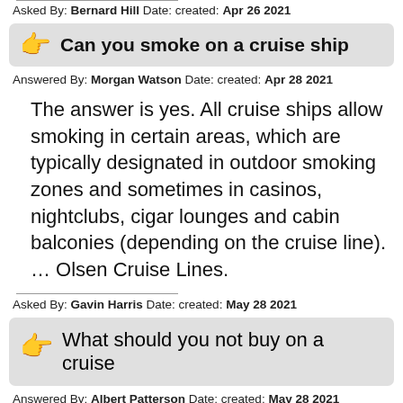Asked By: Bernard Hill Date: created: Apr 26 2021
Can you smoke on a cruise ship
Answered By: Morgan Watson Date: created: Apr 28 2021
The answer is yes. All cruise ships allow smoking in certain areas, which are typically designated in outdoor smoking zones and sometimes in casinos, nightclubs, cigar lounges and cabin balconies (depending on the cruise line). … Olsen Cruise Lines.
Asked By: Gavin Harris Date: created: May 28 2021
What should you not buy on a cruise
Answered By: Albert Patterson Date: created: May 28 2021